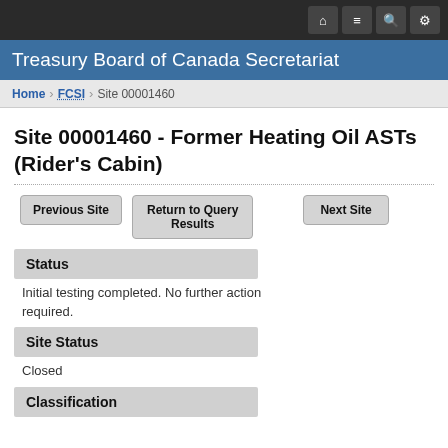Treasury Board of Canada Secretariat
Home > FCSI > Site 00001460
Site 00001460 - Former Heating Oil ASTs (Rider's Cabin)
Previous Site | Return to Query Results | Next Site
Status
Initial testing completed. No further action required.
Site Status
Closed
Classification